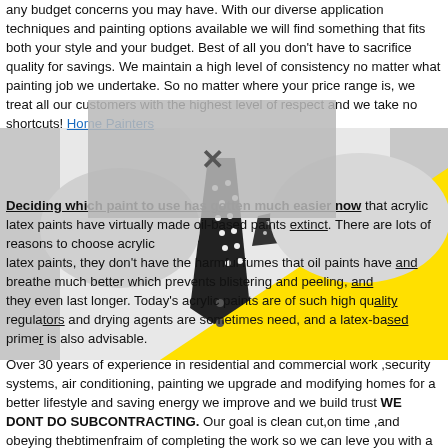any budget concerns you may have. With our diverse application techniques and painting options available we will find something that fits both your style and your budget. Best of all you don't have to sacrifice quality for savings. We maintain a high level of consistency no matter what painting job we undertake. So no matter where your price range is, we treat all our customers with the highest level of respect and we take no shortcuts! Home Painters
Deciding which paint to use has gotten much easier now that acrylic latex paints have virtually made oil-based paints extinct. There are lots of reasons to choose acrylic latex paints, they don't have the harmful fumes that oil paints have and they breathe much better which prevents blistering and peeling, and they even last longer. Today's acrylic paints are of such high quality regulators and drying agents are sometimes need, and a latex-based primer is also advisable.
[Figure (photo): Black and white photo of a man in a white dress shirt with a black polka-dot tie and matching pocket square, overlaid with a large bright yellow triangle/shape in the lower right portion of the image.]
Over 30 years of experience in residential and commercial work ,security systems, air conditioning, painting we upgrade and modifying homes for a better lifestyle and saving energy we improve and we build trust WE DONT DO SUBCONTRACTING. Our goal is clean cut,on time ,and obeying thebtimenfraim of completing the work so we can leve you with a smile on your face and will never make you like what we do ...we gonna make it the way you want to look like as we dont use words: o it's good enough or this is how we always do. Our pricing... No we are not cheap